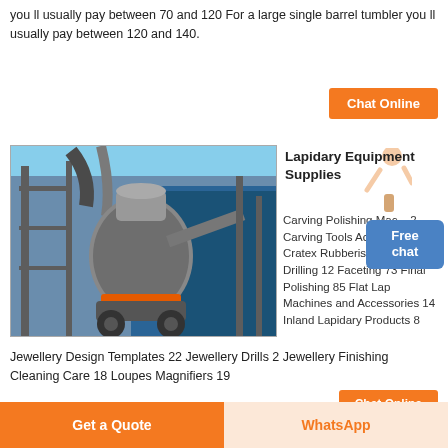you ll usually pay between 70 and 120 For a large single barrel tumbler you ll usually pay between 120 and 140.
[Figure (photo): Industrial lapidary/grinding mill machine in an outdoor industrial setting with blue metal structures and pipes]
Lapidary Equipment Supplies
Carving Polishing Mac... 2 Carving Tools Acces... 30 Cratex Rubberised Abrasives 9 Drilling 12 Faceting 73 Final Polishing 85 Flat Lap Machines and Accessories 14 Inland Lapidary Products 8 Jewellery Design Templates 22 Jewellery Drills 2 Jewellery Finishing Cleaning Care 18 Loupes Magnifiers 19
Chat Online
Get a Quote
WhatsApp